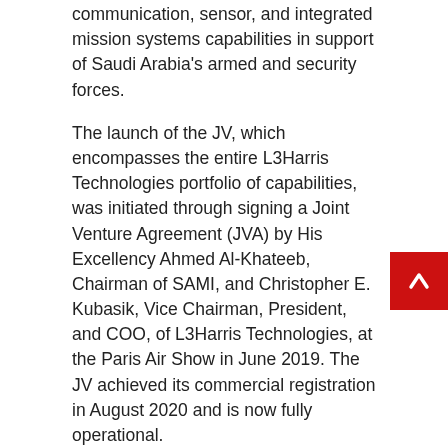communication, sensor, and integrated mission systems capabilities in support of Saudi Arabia's armed and security forces.
The launch of the JV, which encompasses the entire L3Harris Technologies portfolio of capabilities, was initiated through signing a Joint Venture Agreement (JVA) by His Excellency Ahmed Al-Khateeb, Chairman of SAMI, and Christopher E. Kubasik, Vice Chairman, President, and COO, of L3Harris Technologies, at the Paris Air Show in June 2019. The JV achieved its commercial registration in August 2020 and is now fully operational.
Initially focusing on localization of L3Harris' advanced communication and sensor products, the JV scope will expand to include prime contractor responsibilities for integrated mission systems and platforms, leveraging robust local industry partnerships. Together, the two parties aim to collaborate in areas, such as technical/specialized operator and maintenance training; Transfer of Production (ToP); and Transfer of Technology (ToT) through research and development programs in approved technologies.
Eng. Walid Abukhaled, CEO of SAMI, commented: “We are pleased to partner with a globally renowned aerospace and